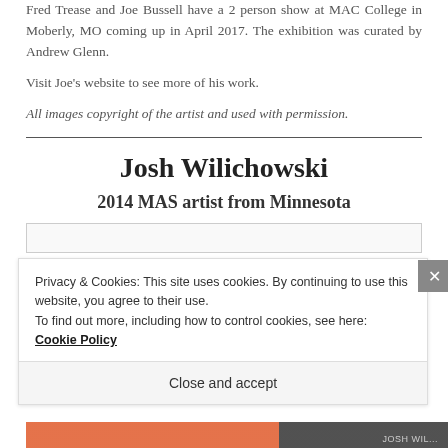Fred Trease and Joe Bussell have a 2 person show at MAC College in Moberly, MO coming up in April 2017. The exhibition was curated by Andrew Glenn.
Visit Joe's website to see more of his work.
All images copyright of the artist and used with permission.
Josh Wilichowski
2014 MAS artist from Minnesota
Privacy & Cookies: This site uses cookies. By continuing to use this website, you agree to their use.
To find out more, including how to control cookies, see here: Cookie Policy
Close and accept